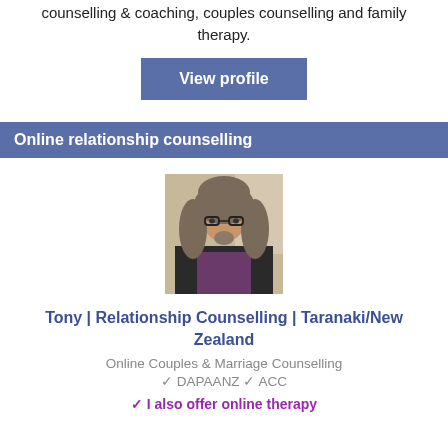counselling & coaching, couples counselling and family therapy.
View profile
Online relationship counselling
[Figure (photo): Portrait photo of Tony, a man with long curly grey hair and glasses, wearing a dark jacket and patterned shirt, seated indoors.]
Tony | Relationship Counselling | Taranaki/New Zealand
Online Couples & Marriage Counselling
✓ DAPAANZ ✓ ACC
✓ I also offer online therapy